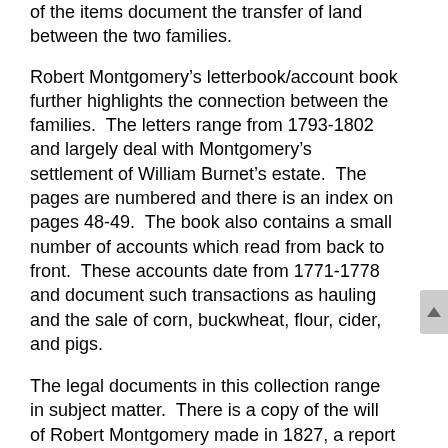of the items document the transfer of land between the two families.
Robert Montgomery’s letterbook/account book further highlights the connection between the families.  The letters range from 1793-1802 and largely deal with Montgomery’s settlement of William Burnet’s estate.  The pages are numbered and there is an index on pages 48-49.  The book also contains a small number of accounts which read from back to front.  These accounts date from 1771-1778 and document such transactions as hauling and the sale of corn, buckwheat, flour, cider, and pigs.
The legal documents in this collection range in subject matter.  There is a copy of the will of Robert Montgomery made in 1827, a report for the Orphan’s Court, and two depositions discussing the alleged mob attack of Sarah Steward in 1761.  The relation between Sarah Steward and the Montgomery and/or Burnet families is unknown.  The same is true for the individuals concerned in the last item in this series, a signed document giving permission for Frances Tantum to marry Sarah Hepburn.